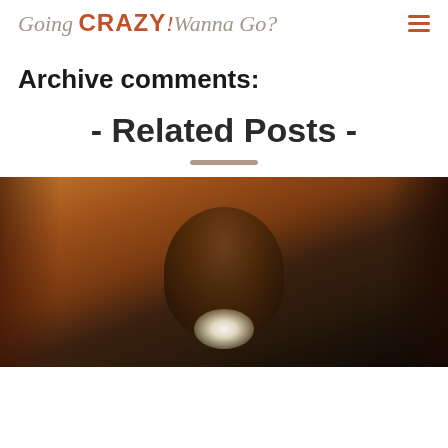Going CRAZY! Wanna Go?
Archive comments:
- Related Posts -
[Figure (photo): Dark indoor photo of a person (child) lit from below by a bright light source, lying down and smiling toward camera, warm orange-toned background]